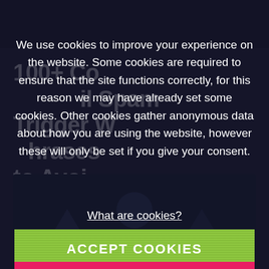100+ Common Email Spam Trigger Words and Phrases to Avoid
[Figure (illustration): Dark background image block related to email spam, with geometric shapes and a number badge showing 1]
We use cookies to improve your experience on the website. Some cookies are required to ensure that the site functions correctly, for this reason we may have already set some cookies. Other cookies gather anonymous data about how you are using the website, however these will only be set if you give your consent.
What are cookies?
ACCEPT COOKIES